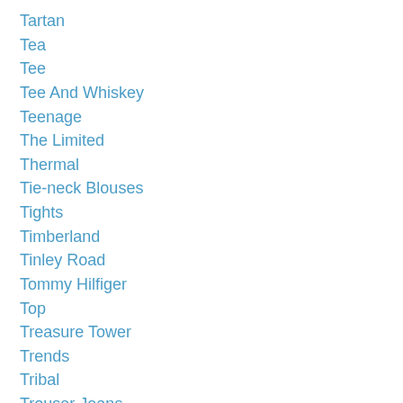Tartan
Tea
Tee
Tee And Whiskey
Teenage
The Limited
Thermal
Tie-neck Blouses
Tights
Timberland
Tinley Road
Tommy Hilfiger
Top
Treasure Tower
Trends
Tribal
Trouser Jeans
T Shirt
T-shirt
T-shirt
Tulle